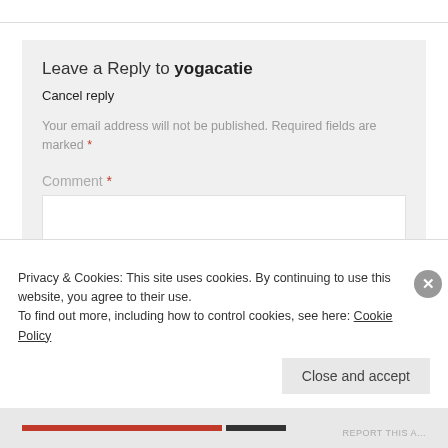Leave a Reply to yogacatie
Cancel reply
Your email address will not be published. Required fields are marked *
Comment *
Privacy & Cookies: This site uses cookies. By continuing to use this website, you agree to their use.
To find out more, including how to control cookies, see here: Cookie Policy
Close and accept